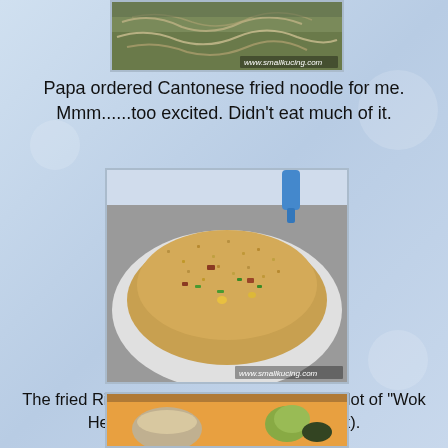[Figure (photo): Cropped top photo of Cantonese fried noodle dish with watermark www.smallkucing.com]
Papa ordered Cantonese fried noodle for me. Mmm......too excited. Didn't eat much of it.
[Figure (photo): Close-up photo of fried rice with char siew (BBQ pork) and green onions on a plate, with watermark www.smallkucing.com]
The fried Rice was nice leh. Chinese says a lot of "Wok Hei". Fried with char siew(BBQ pork).
[Figure (photo): Partial bottom photo showing an orange serving tray with food items including what appears to be fruit or vegetables]